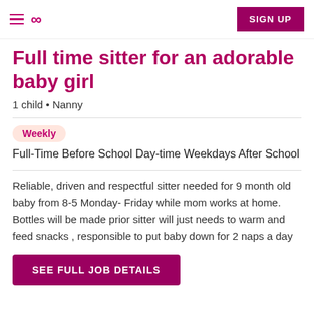≡ ∞ SIGN UP
Full time sitter for an adorable baby girl
1 child • Nanny
Weekly
Full-Time Before School Day-time Weekdays After School
Reliable, driven and respectful sitter needed for 9 month old baby from 8-5 Monday- Friday while mom works at home. Bottles will be made prior sitter will just needs to warm and feed snacks , responsible to put baby down for 2 naps a day
SEE FULL JOB DETAILS